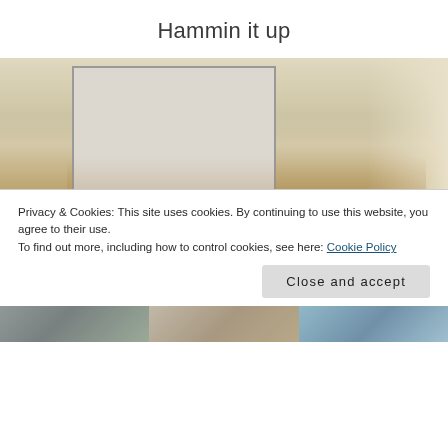Hammin it up
[Figure (photo): Group of teenagers/young adults sitting on the floor in a circle in a room with a projector screen, holding up a large net or fabric between them. Wooden floor, beige walls with wall sconces.]
Privacy & Cookies: This site uses cookies. By continuing to use this website, you agree to their use.
To find out more, including how to control cookies, see here: Cookie Policy
Close and accept
[Figure (photo): Bottom strip showing three partial photos of people/scenes]